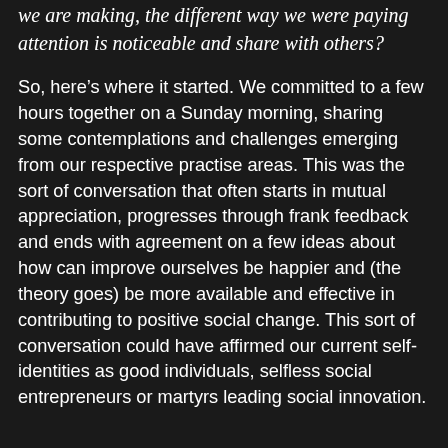we are making, the different way we were paying attention is noticeable and share with others?
So, here's where it started. We committed to a few hours together on a Sunday morning, sharing some contemplations and challenges emerging from our respective practise areas. This was the sort of conversation that often starts in mutual appreciation, progresses through frank feedback and ends with agreement on a few ideas about how can improve ourselves be happier and (the theory goes) be more available and effective in contributing to positive social change. This sort of conversation could have affirmed our current self-identities as good individuals, selfless social entrepreneurs or martyrs leading social innovation.